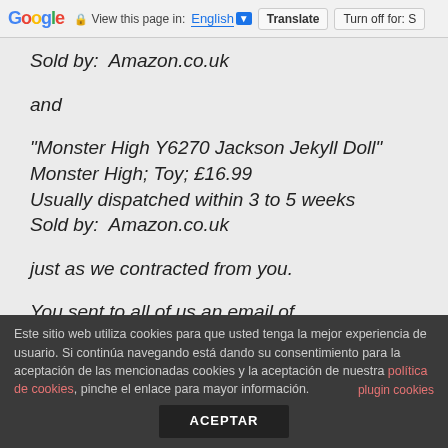Google | View this page in: English | Translate | Turn off for: S
Sold by:  Amazon.co.uk
and
"Monster High Y6270 Jackson Jekyll Doll"
Monster High; Toy; £16.99
Usually dispatched within 3 to 5 weeks
Sold by:  Amazon.co.uk
just as we contracted from you.
You sent to all of us an email of confirmation of our orders, and one week
Este sitio web utiliza cookies para que usted tenga la mejor experiencia de usuario. Si continúa navegando está dando su consentimiento para la aceptación de las mencionadas cookies y la aceptación de nuestra política de cookies, pinche el enlace para mayor información.
plugin cookies
ACEPTAR